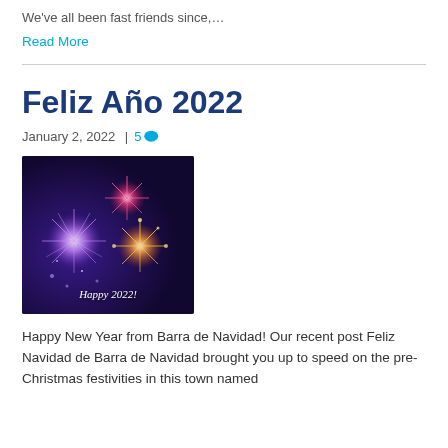We've all been fast friends since,…
Read More
Feliz Año 2022
January 2, 2022  |  5
[Figure (photo): Fireworks image with colorful explosions on dark background, with text 'Happy 2022!' at the bottom]
Happy New Year from Barra de Navidad! Our recent post Feliz Navidad de Barra de Navidad brought you up to speed on the pre-Christmas festivities in this town named